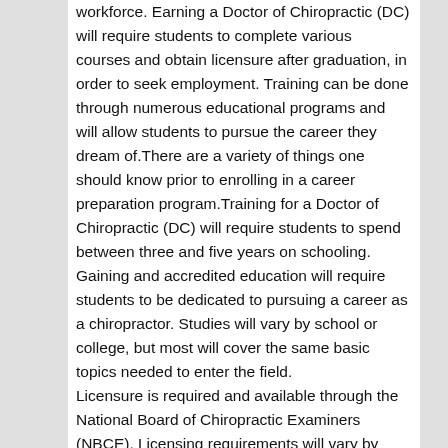workforce. Earning a Doctor of Chiropractic (DC) will require students to complete various courses and obtain licensure after graduation, in order to seek employment. Training can be done through numerous educational programs and will allow students to pursue the career they dream of.There are a variety of things one should know prior to enrolling in a career preparation program.Training for a Doctor of Chiropractic (DC) will require students to spend between three and five years on schooling.
Gaining and accredited education will require students to be dedicated to pursuing a career as a chiropractor. Studies will vary by school or college, but most will cover the same basic topics needed to enter the field.
Licensure is required and available through the National Board of Chiropractic Examiners (NBCE). Licensing requirements will vary by state, so students should know the requirements prior to enrollment. Students can start by deciding on whether or not a chiropractic career education program is right for them.Gaining an accredited doctoral degree in this exciting field will allow students to pursue the career they long for. Possible careers include working